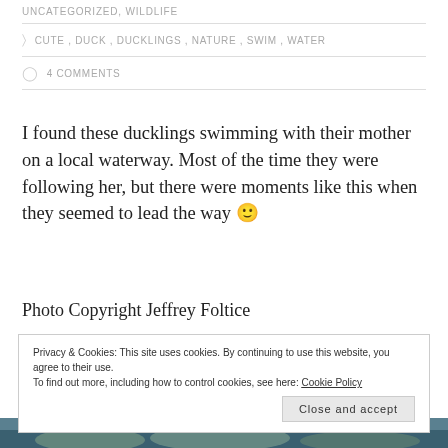UNCATEGORIZED, WILDLIFE
CUTE, DUCK, DUCKLINGS, NATURE, SWIM, WATER
4 COMMENTS
I found these ducklings swimming with their mother on a local waterway. Most of the time they were following her, but there were moments like this when they seemed to lead the way 🙂
Photo Copyright Jeffrey Foltice
Privacy & Cookies: This site uses cookies. By continuing to use this website, you agree to their use.
To find out more, including how to control cookies, see here: Cookie Policy
Close and accept
[Figure (photo): Partial view of ducklings on water, bottom strip of image]